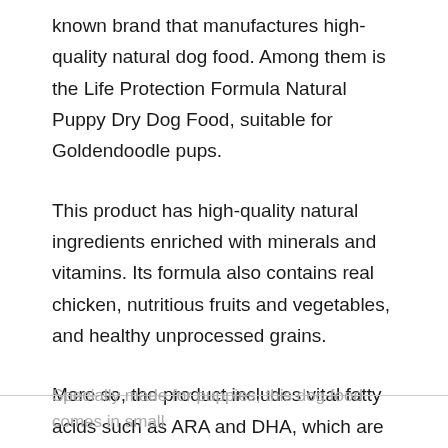known brand that manufactures high-quality natural dog food. Among them is the Life Protection Formula Natural Puppy Dry Dog Food, suitable for Goldendoodle pups.
This product has high-quality natural ingredients enriched with minerals and vitamins. Its formula also contains real chicken, nutritious fruits and vegetables, and healthy unprocessed grains.
More so, the product includes vital fatty acids such as ARA and DHA, which are present in the mother's milk. This assists in the development of the brain and eye of the young Goldendoodles.
Specially made for puppies, this dog food comes in small